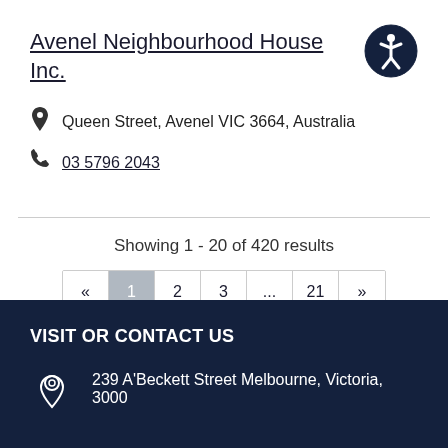Avenel Neighbourhood House Inc.
Queen Street, Avenel VIC 3664, Australia
03 5796 2043
Showing 1 - 20 of 420 results
« 1 2 3 ... 21 »
VISIT OR CONTACT US
239 A'Beckett Street Melbourne, Victoria, 3000